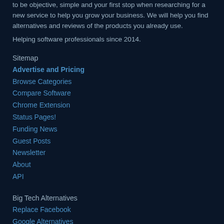to be objective, simple and your first stop when researching for a new service to help you grow your business. We will help you find alternatives and reviews of the products you already use.
Helping software professionals since 2014.
Sitemap
Advertise and Pricing
Browse Categories
Compare Software
Chrome Extension
Status Pages!
Funding News
Guest Posts
Newsletter
About
API
Big Tech Alternatives
Replace Facebook
Google Alternatives
Atlassian Alternatives